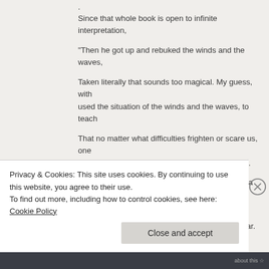.
Since that whole book is open to infinite interpretation,
“Then he got up and rebuked the winds and the waves,
Taken literally that sounds too magical. My guess, with used the situation of the winds and the waves, to teach
That no matter what difficulties frighten or scare us, one we trust in the universe, everything will be alright.
There is a saying, alternately attributed to Buddha Sidd and the Theosophists, that goes:
When the student is ready, the teacher will appear.
Likewise the reverse must be true
Privacy & Cookies: This site uses cookies. By continuing to use this website, you agree to their use.
To find out more, including how to control cookies, see here: Cookie Policy
Close and accept